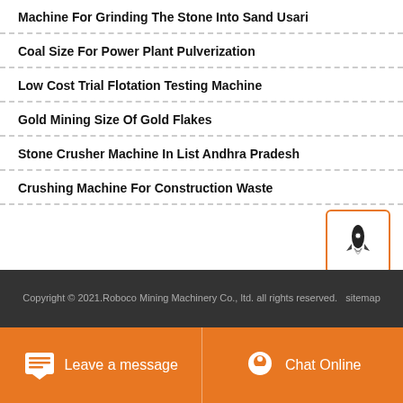Machine For Grinding The Stone Into Sand Usari
Coal Size For Power Plant Pulverization
Low Cost Trial Flotation Testing Machine
Gold Mining Size Of Gold Flakes
Stone Crusher Machine In List Andhra Pradesh
Crushing Machine For Construction Waste
[Figure (illustration): Rocket icon inside an orange-bordered square button]
Copyright © 2021.Roboco Mining Machinery Co., ltd. all rights reserved.   sitemap
Leave a message   Chat Online